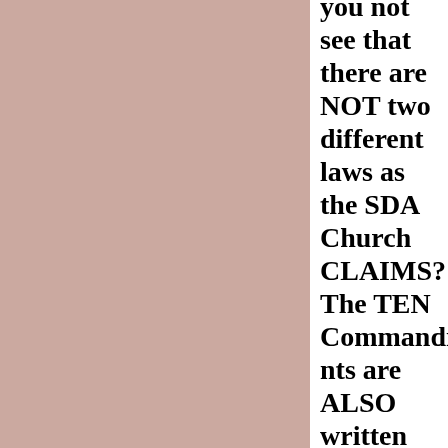[Figure (other): Pink/mauve colored rectangular background panel on the left side of the page]
you not see that there are NOT two different laws as the SDA Church CLAIMS? The TEN Commandments are ALSO written IN the Law of